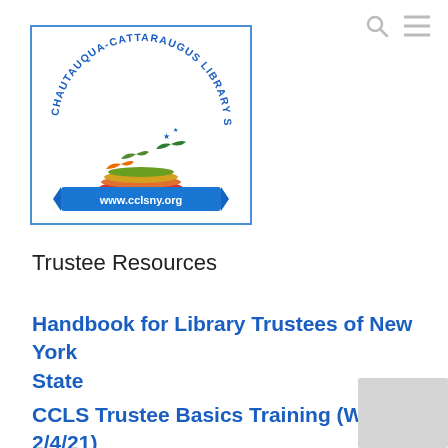[Figure (logo): Chautauqua-Cattaraugus Library System circular logo with colorful stacked books and birds, text 'CHAUTAUQUA-CATTARAUGUS LIBRARY SYSTEM' around the circle, and a blue ribbon banner at the bottom reading 'www.cclsny.org', enclosed in a blue rectangle border.]
Trustee Resources
Handbook for Library Trustees of New York State
CCLS Trustee Basics Training (Webinar 2/4/21)